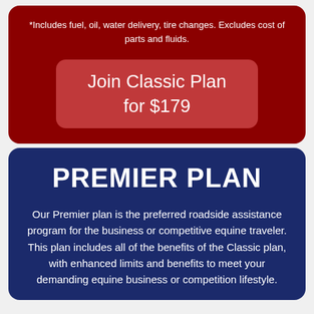*Includes fuel, oil, water delivery, tire changes. Excludes cost of parts and fluids.
Join Classic Plan for $179
PREMIER PLAN
Our Premier plan is the preferred roadside assistance program for the business or competitive equine traveler. This plan includes all of the benefits of the Classic plan, with enhanced limits and benefits to meet your demanding equine business or competition lifestyle.